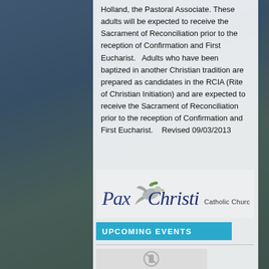Holland, the Pastoral Associate. These adults will be expected to receive the Sacrament of Reconciliation prior to the reception of Confirmation and First Eucharist. Adults who have been baptized in another Christian tradition are prepared as candidates in the RCIA (Rite of Christian Initiation) and are expected to receive the Sacrament of Reconciliation prior to the reception of Confirmation and First Eucharist. Revised 09/03/2013
[Figure (logo): Pax Christi Catholic Church logo with dove illustration]
UPCOMING EVENTS
[Figure (photo): Blurred/greyed image with a no-phone or similar icon]